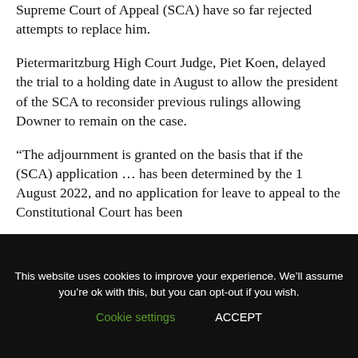Supreme Court of Appeal (SCA) have so far rejected attempts to replace him.
Pietermaritzburg High Court Judge, Piet Koen, delayed the trial to a holding date in August to allow the president of the SCA to reconsider previous rulings allowing Downer to remain on the case.
“The adjournment is granted on the basis that if the (SCA) application … has been determined by the 1 August 2022, and no application for leave to appeal to the Constitutional Court has been
This website uses cookies to improve your experience. We’ll assume you’re ok with this, but you can opt-out if you wish.
Cookie settings   ACCEPT